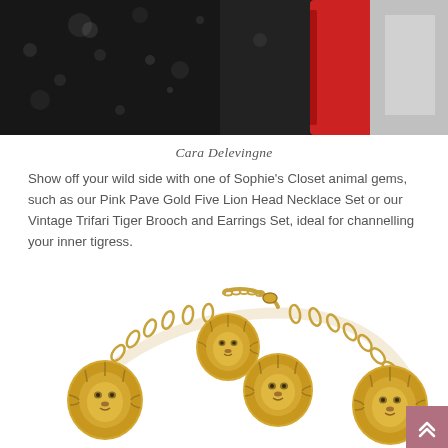[Figure (photo): Partial top photo showing a dark background with snow/bokeh effects and what appears to be a red object and grey/white clothing or accessories — cropped image of Cara Delevingne]
Cara Delevingne
Show off your wild side with one of Sophie's Closet animal gems, such as our Pink Pave Gold Five Lion Head Necklace Set or our Vintage Trifari Tiger Brooch and Earrings Set, ideal for channelling your inner tigress.
[Figure (photo): Gold lion head necklace set displayed on white background, featuring a chunky gold chain with multiple lion head pendants and two lion head charms/earrings in the center.]